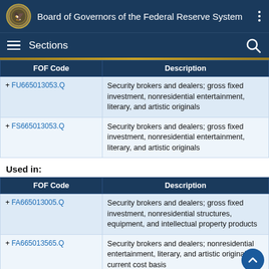Board of Governors of the Federal Reserve System
Sections
| FOF Code | Description |
| --- | --- |
| + FU665013053.Q | Security brokers and dealers; gross fixed investment, nonresidential entertainment, literary, and artistic originals |
| + FS665013053.Q | Security brokers and dealers; gross fixed investment, nonresidential entertainment, literary, and artistic originals |
Used in:
| FOF Code | Description |
| --- | --- |
| + FA665013005.Q | Security brokers and dealers; gross fixed investment, nonresidential structures, equipment, and intellectual property products |
| + FA665013565.Q | Security brokers and dealers; nonresidential entertainment, literary, and artistic originals, current cost basis |